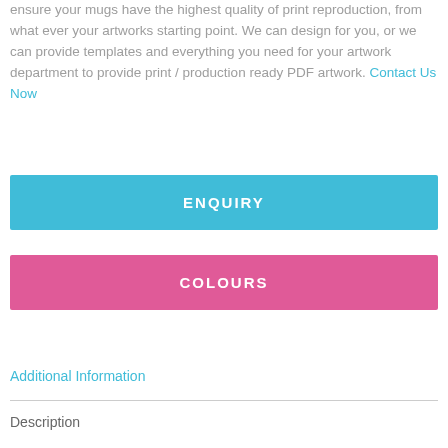ensure your mugs have the highest quality of print reproduction, from what ever your artworks starting point. We can design for you, or we can provide templates and everything you need for your artwork department to provide print / production ready PDF artwork. Contact Us Now
ENQUIRY
COLOURS
Additional Information
Description